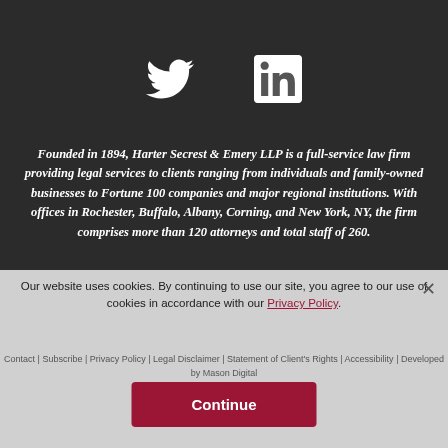[Figure (illustration): Twitter bird icon (white) and LinkedIn square icon (white on dark gray background) — social media icons]
Founded in 1894, Harter Secrest & Emery LLP is a full-service law firm providing legal services to clients ranging from individuals and family-owned businesses to Fortune 100 companies and major regional institutions. With offices in Rochester, Buffalo, Albany, Corning, and New York, NY, the firm comprises more than 120 attorneys and total staff of 260.
© 2022 Harter Secrest & Emery LLP – All Rights Reserved – Attorney Advertising. Prior results do not guarantee a similar outcome.
Our website uses cookies. By continuing to use our site, you agree to our use of cookies in accordance with our Privacy Policy.
Contact | Subscribe | Privacy Policy | Legal Disclaimer | Statement of Client's Rights | Accessibility | Developed by Mason Digital
Continue